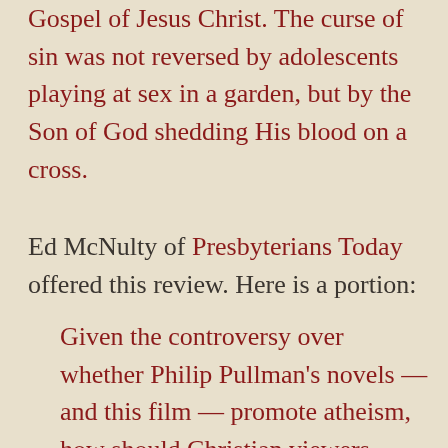Gospel of Jesus Christ. The curse of sin was not reversed by adolescents playing at sex in a garden, but by the Son of God shedding His blood on a cross.
Ed McNulty of Presbyterians Today offered this review. Here is a portion:
Given the controversy over whether Philip Pullman's novels — and this film — promote atheism, how should Christian viewers approach The Golden Compass? First, read the original novels, especially if you enjoy fantasy literature. You will discover that Pullman opposes what any thoughtful Christians would